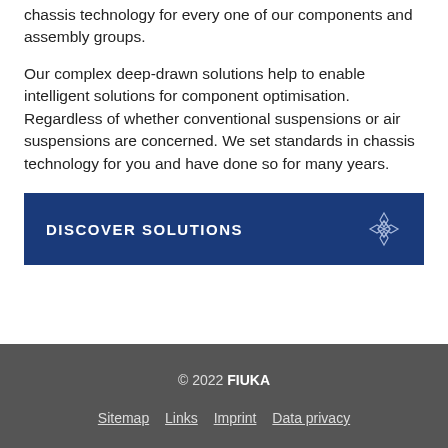chassis technology for every one of our components and assembly groups.
Our complex deep-drawn solutions help to enable intelligent solutions for component optimisation. Regardless of whether conventional suspensions or air suspensions are concerned. We set standards in chassis technology for you and have done so for many years.
DISCOVER SOLUTIONS
© 2022 FIUKA
Sitemap  Links  Imprint  Data privacy